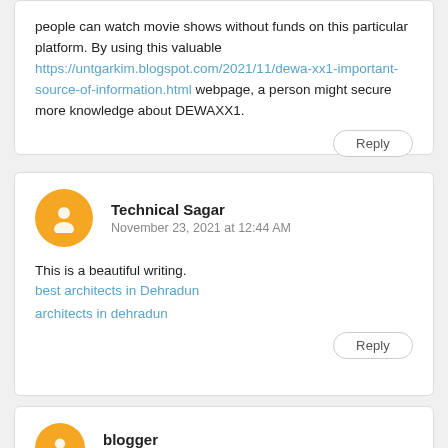people can watch movie shows without funds on this particular platform. By using this valuable https://untgarkim.blogspot.com/2021/11/dewa-xx1-important-source-of-information.html webpage, a person might secure more knowledge about DEWAXX1.
Reply
Technical Sagar
November 23, 2021 at 12:44 AM
This is a beautiful writing.
best architects in Dehradun
architects in dehradun
Reply
blogger
November 23, 2021 at 12:54 AM